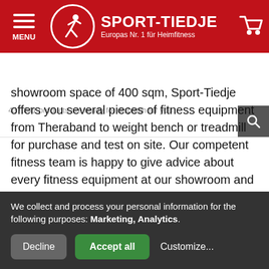SPORT-TIEDJE — Europas Nr. 1 für Heimfitness
437.841 products are ready for dispatch for you
showroom space of 400 sqm, Sport-Tiedje offers you several pieces of fitness equipment from Theraband to weight bench or treadmill for purchase and test on site. Our competent fitness team is happy to give advice about every fitness equipment at our showroom and our online shop and is happy to assist beyond the purchase of fitness equipment, i.e., regarding questions about warranty, training tips or maintenance tips.
Sport in Munich becomes more
We collect and process your personal information for the following purposes: Marketing, Analytics.
Decline   Accept all   Customize...